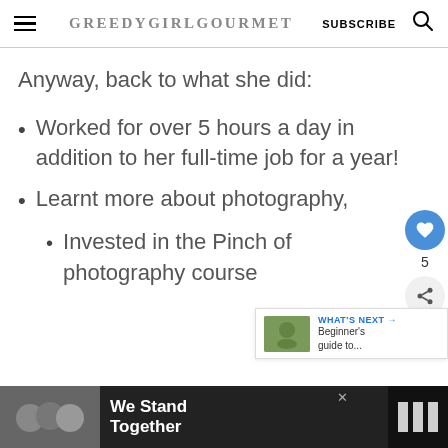GREEDYGIRLGOURMET | SUBSCRIBE
Anyway, back to what she did:
Worked for over 5 hours a day in addition to her full-time job for a year!
Learnt more about photography,
Invested in the Pinch of photography course